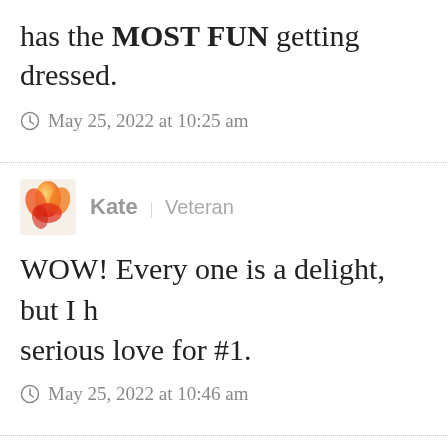has the MOST FUN getting dressed.
May 25, 2022 at 10:25 am
Kate | Veteran
WOW! Every one is a delight, but I h serious love for #1.
May 25, 2022 at 10:46 am
Kay